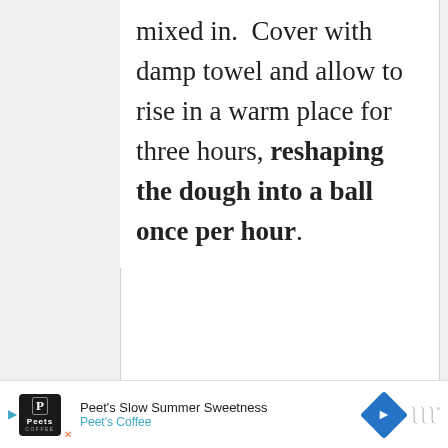mixed in.  Cover with damp towel and allow to rise in a warm place for three hours, reshaping the dough into a ball once per hour.
[Figure (screenshot): Gray placeholder/content area below the text block, with floating heart and share action buttons on the right edge]
[Figure (screenshot): Advertisement bar at bottom: Peet's Slow Summer Sweetness, Peet's Coffee, with logo, navigation icon, and audio waves icon]